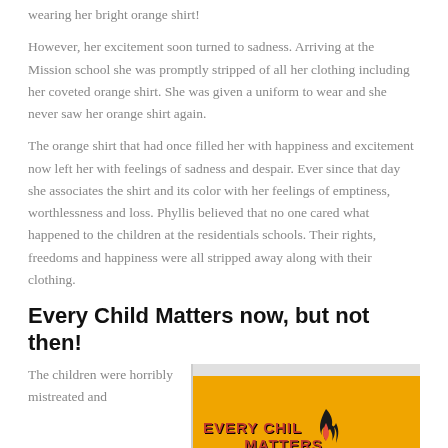wearing her bright orange shirt!
However, her excitement soon turned to sadness. Arriving at the Mission school she was promptly stripped of all her clothing including her coveted orange shirt. She was given a uniform to wear and she never saw her orange shirt again.
The orange shirt that had once filled her with happiness and excitement now left her with feelings of sadness and despair. Ever since that day she associates the shirt and its color with her feelings of emptiness, worthlessness and loss. Phyllis believed that no one cared what happened to the children at the residentials schools. Their rights, freedoms and happiness were all stripped away along with their clothing.
Every Child Matters now, but not then!
The children were horribly mistreated and
[Figure (illustration): Every Child Matters logo/banner on orange background with flame icon and text 'EVERY CHILD MATTERS']